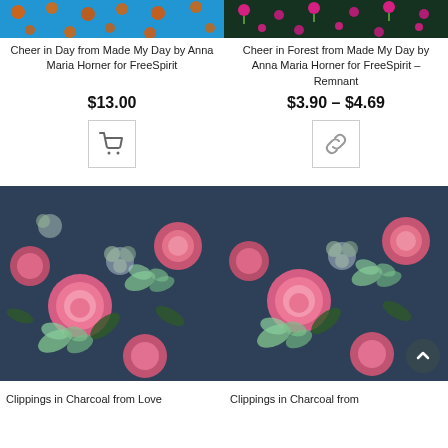[Figure (photo): Blue fabric with orange dot pattern - Cheer in Day]
[Figure (photo): Dark green fabric with pink floral/dot pattern - Cheer in Forest]
Cheer in Day from Made My Day by Anna Maria Horner for FreeSpirit
Cheer in Forest from Made My Day by Anna Maria Horner for FreeSpirit – Remnant
$13.00
$3.90 – $4.69
[Figure (other): Shopping cart icon button]
[Figure (other): Link/chain icon button]
[Figure (photo): Dark charcoal fabric with pink roses and butterflies - Clippings in Charcoal]
[Figure (photo): Dark charcoal fabric with pink roses and butterflies - Clippings in Charcoal (second)]
Clippings in Charcoal from Love
Clippings in Charcoal from